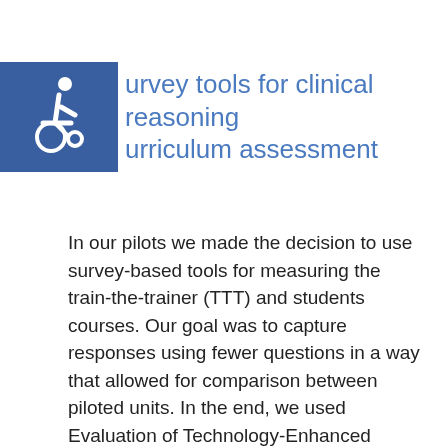[Figure (logo): Blue square with white wheelchair accessibility icon]
Survey tools for clinical reasoning curriculum assessment
In our pilots we made the decision to use survey-based tools for measuring the train-the-trainer (TTT) and students courses. Our goal was to capture responses using fewer questions in a way that allowed for comparison between piloted units. In the end, we used Evaluation of Technology-Enhanced Learning Materials (ETELM). This tool, developed by David Cook and Rachel Ellaway, gave us our launch pad to have questionnaires be our standard evaluation